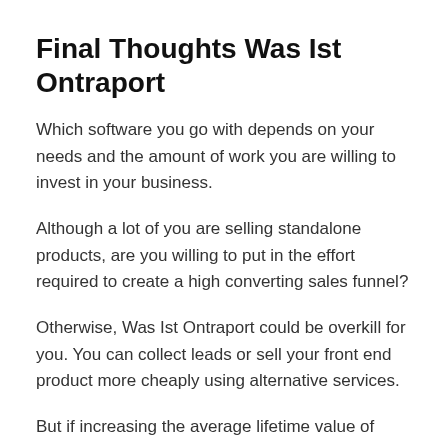Final Thoughts Was Ist Ontraport
Which software you go with depends on your needs and the amount of work you are willing to invest in your business.
Although a lot of you are selling standalone products, are you willing to put in the effort required to create a high converting sales funnel?
Otherwise, Was Ist Ontraport could be overkill for you. You can collect leads or sell your front end product more cheaply using alternative services.
But if increasing the average lifetime value of your